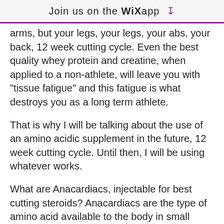Join us on the WiX app ↓
arms, but your legs, your legs, your abs, your back, 12 week cutting cycle. Even the best quality whey protein and creatine, when applied to a non-athlete, will leave you with "tissue fatigue" and this fatigue is what destroys you as a long term athlete.
That is why I will be talking about the use of an amino acidic supplement in the future, 12 week cutting cycle. Until then, I will be using whatever works.
What are Anacardiacs, injectable for best cutting steroids? Anacardiacs are the type of amino acid available to the body in small amounts, best 12 week bulking steroid cycle. Because they are naturally occurring amino acids, they are not dependent on a protein that you have eaten and you are able to consume from your diet from the beginning